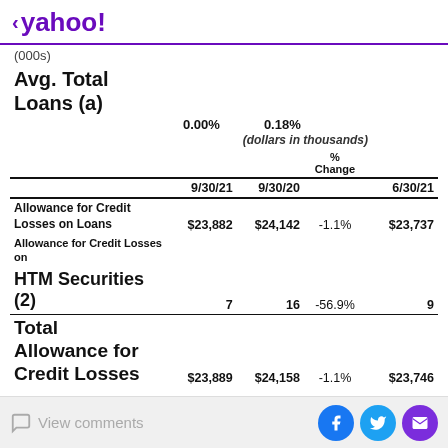< yahoo!
(000s)
Avg. Total Loans (a)
0.00%   0.18%
(dollars in thousands)
|  | 9/30/21 | 9/30/20 | % Change | 6/30/21 |
| --- | --- | --- | --- | --- |
| Allowance for Credit Losses on Loans | $23,882 | $24,142 | -1.1% | $23,737 |
| Allowance for Credit Losses on HTM Securities (2) | 7 | 16 | -56.9% | 9 |
| Total Allowance for Credit Losses | $23,889 | $24,158 | -1.1% | $23,746 |
View comments